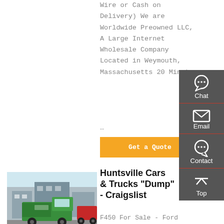Wire or Cash on Delivery) We are Worldwide Preowned LLC, A Large Internet Wholesale Company Located in Weymouth, Massachusetts 20 Minutes …
[Figure (other): Orange button labeled 'Get a Quote']
[Figure (photo): Photo of green dump trucks in a lot]
Huntsville Cars & Trucks "Dump" - Craigslist
F450 For Sale - Ford
[Figure (infographic): Side panel with Chat, Email, Contact, and Top navigation icons on dark grey background]